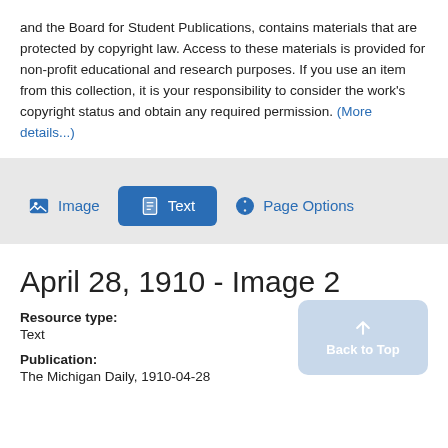and the Board for Student Publications, contains materials that are protected by copyright law. Access to these materials is provided for non-profit educational and research purposes. If you use an item from this collection, it is your responsibility to consider the work's copyright status and obtain any required permission. (More details...)
[Figure (screenshot): Tab bar with Image, Text (active/selected), and Page Options buttons on a light grey background]
April 28, 1910 - Image 2
Resource type:
Text
Publication:
The Michigan Daily, 1910-04-28